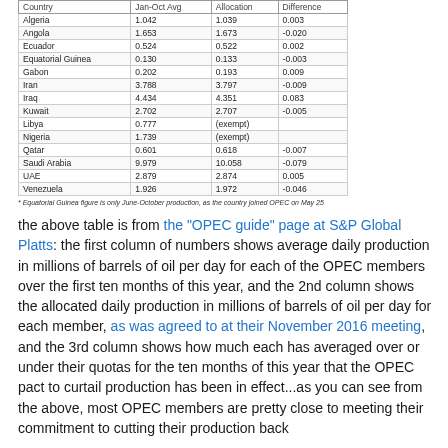| Country | Jan-Oct Avg | Allocation | Difference |
| --- | --- | --- | --- |
| Algeria | 1.042 | 1.039 | 0.003 |
| Angola | 1.653 | 1.673 | -0.020 |
| Ecuador | 0.524 | 0.522 | 0.002 |
| Equatorial Guinea | 0.130 | 0.133 | -0.003 |
| Gabon | 0.202 | 0.193 | 0.009 |
| Iran | 3.788 | 3.797 | -0.009 |
| Iraq | 4.434 | 4.351 | 0.083 |
| Kuwait | 2.702 | 2.707 | -0.005 |
| Libya | 0.777 | (exempt) |  |
| Nigeria | 1.739 | (exempt) |  |
| Qatar | 0.601 | 0.618 | -0.007 |
| Saudi Arabia | 9.979 | 10.058 | -0.079 |
| UAE | 2.879 | 2.874 | 0.005 |
| Venezuela | 1.926 | 1.972 | -0.046 |
* Equatorial Guinea figure is only June-October production, as the country joined OPEC on May 25
the above table is from the "OPEC guide" page at S&P Global Platts: the first column of numbers shows average daily production in millions of barrels of oil per day for each of the OPEC members over the first ten months of this year, and the 2nd column shows the allocated daily production in millions of barrels of oil per day for each member, as was agreed to at their November 2016 meeting, and the 3rd column shows how much each has averaged over or under their quotas for the ten months of this year that the OPEC pact to curtail production has been in effect...as you can see from the above, most OPEC members are pretty close to meeting their commitment to cutting their production back